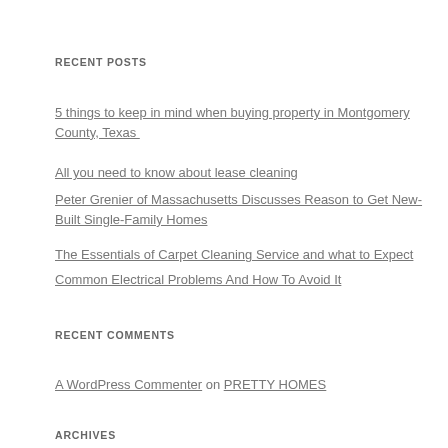RECENT POSTS
5 things to keep in mind when buying property in Montgomery County, Texas
All you need to know about lease cleaning
Peter Grenier of Massachusetts Discusses Reason to Get New-Built Single-Family Homes
The Essentials of Carpet Cleaning Service and what to Expect
Common Electrical Problems And How To Avoid It
RECENT COMMENTS
A WordPress Commenter on PRETTY HOMES
ARCHIVES